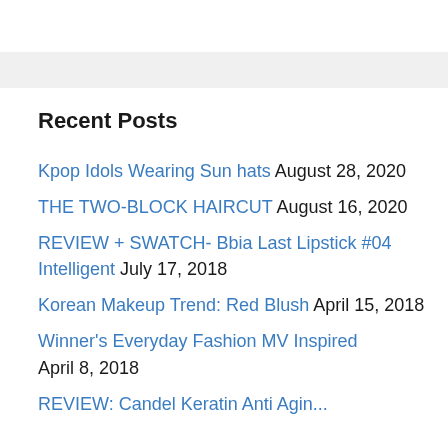Recent Posts
Kpop Idols Wearing Sun hats August 28, 2020
THE TWO-BLOCK HAIRCUT August 16, 2020
REVIEW + SWATCH- Bbia Last Lipstick #04 Intelligent July 17, 2018
Korean Makeup Trend: Red Blush April 15, 2018
Winner's Everyday Fashion MV Inspired April 8, 2018
REVIEW: Candal Keratin Anti Aging...